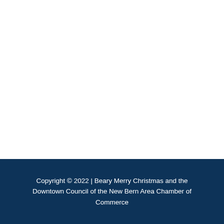Copyright © 2022 | Beary Merry Christmas and the Downtown Council of the New Bern Area Chamber of Commerce